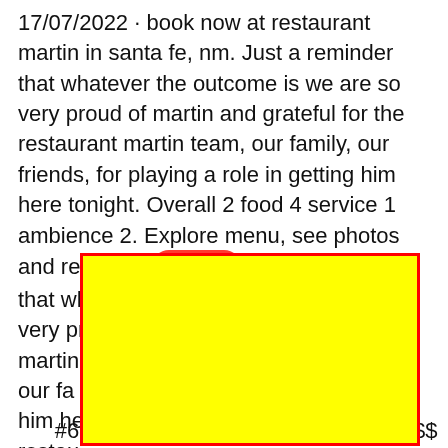17/07/2022 · book now at restaurant martin in santa fe, nm. Just a reminder that whatever the outcome is we are so very proud of martin and grateful for the restaurant martin team, our family, our friends, for playing a role in getting him here tonight. Overall 2 food 4 service 1 ambience 2. Explore menu, see photos and read 336 [close] Just a reminder that whatever the outcome is we are so very proud of martin team, our fa...ing him he... restau... conte...ne 23, 2022. J...ome is we are...r the restau..., for playin...
[Figure (other): Yellow rectangle with red border overlay covering part of the text, acting as a content blocker/redaction box. A red 'close' button label is shown above it in the text area.]
View M...
...#65 of 355 restaurants, known for $$$$